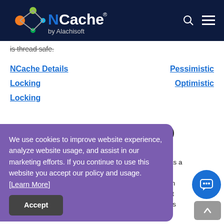NCache by Alachisoft
is thread safe.
NCache Details Locking
Pessimistic Locking Optimistic Locking
Optimistic Locking (Item Versions)
In optimistic locking, NCache uses cache item versioning. On the server-side, every cached object has a version number associated with it which gets incremented on every cache item update. NCache then checks if you are working on the latest version. If not, it rejects your cache update. This way, only one user gets to update and other user updates fail.
We use cookies to improve website experience, analyze website usage, and assist in our marketing efforts. If you continue to use this website you accept our policy and usage. [Learn More]
Accept